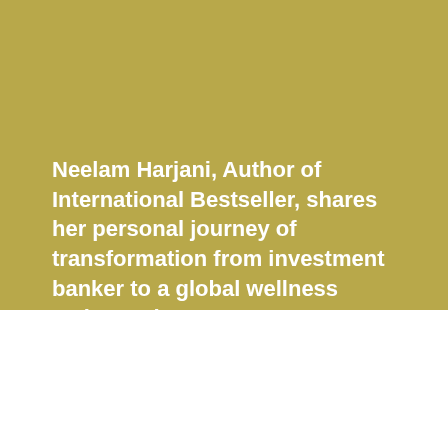Neelam Harjani, Author of International Bestseller, shares her personal journey of transformation from investment banker to a global wellness ambassador